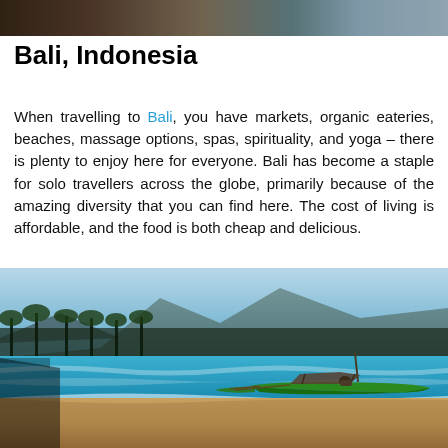[Figure (photo): Partial top photo strip — cropped travel photograph at top of page]
Bali, Indonesia
When travelling to Bali, you have markets, organic eateries, beaches, massage options, spas, spirituality, and yoga – there is plenty to enjoy here for everyone. Bali has become a staple for solo travellers across the globe, primarily because of the amazing diversity that you can find here. The cost of living is affordable, and the food is both cheap and delicious.
[Figure (photo): Beach scene in Bali with a green outrigger boat on golden sand, turquoise ocean water, palm trees and mountains in the background]